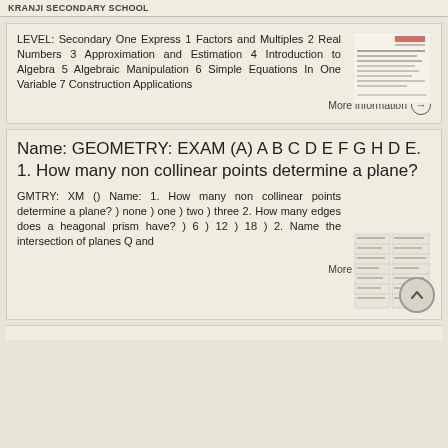KRANJI SECONDARY SCHOOL
LEVEL: Secondary One Express 1 Factors and Multiples 2 Real Numbers 3 Approximation and Estimation 4 Introduction to Algebra 5 Algebraic Manipulation 6 Simple Equations In One Variable 7 Construction Applications
More information →
Name: GEOMETRY: EXAM (A) A B C D E F G H D E. 1. How many non collinear points determine a plane?
GMTRY: XM () Name: 1. How many non collinear points determine a plane? ) none ) one ) two ) three 2. How many edges does a heagonal prism have? ) 6 ) 12 ) 18 ) 2. Name the intersection of planes Q and
More information →